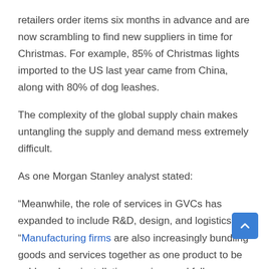retailers order items six months in advance and are now scrambling to find new suppliers in time for Christmas. For example, 85% of Christmas lights imported to the US last year came from China, along with 80% of dog leashes.
The complexity of the global supply chain makes untangling the supply and demand mess extremely difficult.
As one Morgan Stanley analyst stated:
“Meanwhile, the role of services in GVCs has expanded to include R&D, design, and logistics. “Manufacturing firms are also increasingly bundling goods and services together as one product to be sold, such as installation services and follow-on servicing and maintenance contracts as additional value-added to customers,” he adds. “Consequently, any shocks to global goods trade will impart disruptions to the services